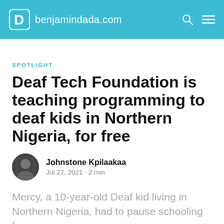benjamindada.com
SPOTLIGHT
Deaf Tech Foundation is teaching programming to deaf kids in Northern Nigeria, for free
Johnstone Kpilaakaa
Jul 27, 2021 · 2 min
Mercy, a 10-year-old Deaf kid living in Northern Nigeria, had to pause schooling for